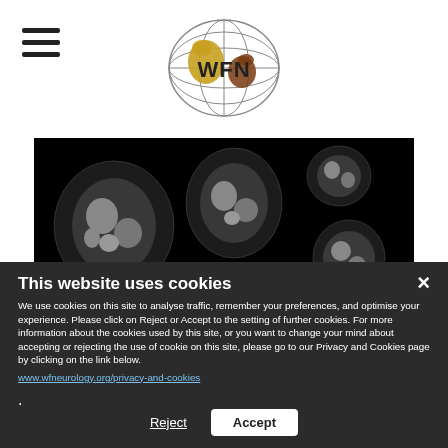WFN
[Figure (photo): MRI cross-sectional muscle imaging showing multiple axial slices of limb musculature with varying degrees of fatty infiltration on black background]
Peculiar muscle imaging findings in a patient with alphaB-crystallinopathy and axial myopathy
Sara Bortolani, Fabiana Fattori, Mauro Monforte, Enzo Ricci, Giorgio Tasca
This website uses cookies
We use cookies on this site to analyse traffic, remember your preferences, and optimise your experience. Please click on Reject or Accept to the setting of further cookies. For more information about the cookies used by this site, or you want to change your mind about accepting or rejecting the use of cookie on this site, please go to our Privacy and Cookies page by clicking on the link below.
www.wfneurology.org/privacy-and-cookies.
Reject  Accept